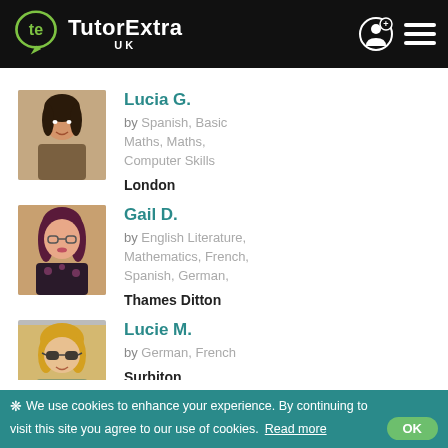[Figure (logo): TutorExtra UK logo with green icon and white text on black header, plus user and menu icons]
Lucia G. — by Spanish, Basic Maths, Maths, Computer Skills — London
Gail D. — by English Literature, Mathematics, French, Spanish, German, — Thames Ditton
Lucie M. — by German, French — Surbiton
❋ We use cookies to enhance your experience. By continuing to visit this site you agree to our use of cookies. Read more OK